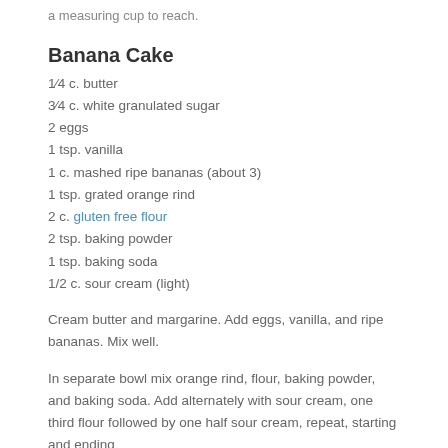a measuring cup to reach.
Banana Cake
1⁄4 c. butter
3⁄4 c. white granulated sugar
2 eggs
1 tsp. vanilla
1 c. mashed ripe bananas (about 3)
1 tsp. grated orange rind
2 c. gluten free flour
2 tsp. baking powder
1 tsp. baking soda
1/2 c. sour cream (light)
Cream butter and margarine.  Add eggs, vanilla, and ripe bananas.  Mix well.
In separate bowl mix orange rind, flour, baking powder, and baking soda.  Add alternately with sour cream, one third flour followed by one half sour cream, repeat, starting and ending